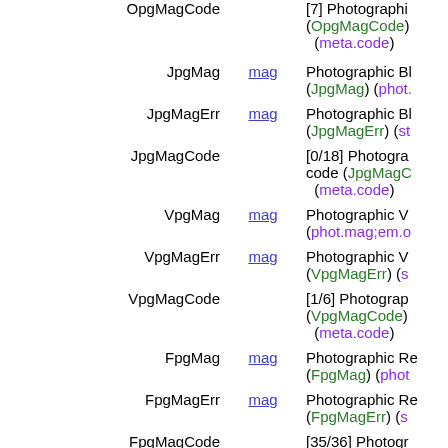OpgMagCode — [7] Photographic (OpgMagCode) (meta.code)
JpgMag mag Photographic Bl (JpgMag) (phot.
JpgMagErr mag Photographic Bl (JpgMagErr) (st
JpgMagCode [0/18] Photogr code (JpgMagC) (meta.code)
VpgMag mag Photographic V (phot.mag;em.o
VpgMagErr mag Photographic V (VpgMagErr) (s
VpgMagCode [1/6] Photograp (VpgMagCode) (meta.code)
FpgMag mag Photographic Re (FpgMag) (phot
FpgMagErr mag Photographic Re (FpgMagErr) (s
FpgMagCode [35/36] Photogr code (FpgMagC) (meta.code)